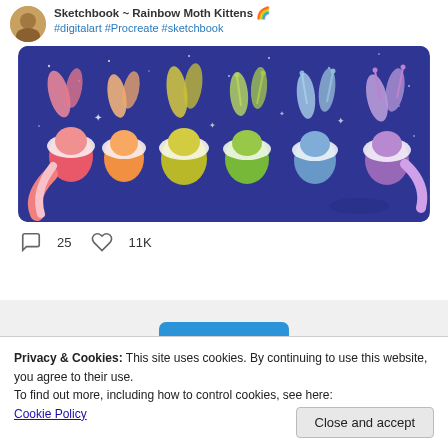Sketchbook ~ Rainbow Moth Kittens 🌈 #digitalart #Procreate #sketchbook
[Figure (illustration): Digital artwork showing six cat-like creatures with moth/leaf wings and antennae, arranged in a row on a dark blue background. The creatures progress through rainbow colors from left to right: pink/red, orange, yellow-green, green, blue, and purple.]
25 comments  11K likes
Privacy & Cookies: This site uses cookies. By continuing to use this website, you agree to their use.
To find out more, including how to control cookies, see here:
Cookie Policy
Close and accept